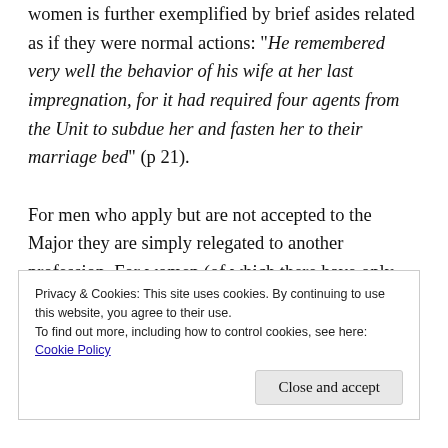women is further exemplified by brief asides related as if they were normal actions: “He remembered very well the behavior of his wife at her last impregnation, for it had required four agents from the Unit to subdue her and fasten her to their marriage bed” (p 21).

For men who apply but are not accepted to the Major they are simply relegated to another profession. For women (of which there have only been three female poets), those who fail are placed in isolation (they are drugged to unconsciousness when their rooms need to
Privacy & Cookies: This site uses cookies. By continuing to use this website, you agree to their use.
To find out more, including how to control cookies, see here:
Cookie Policy
Close and accept